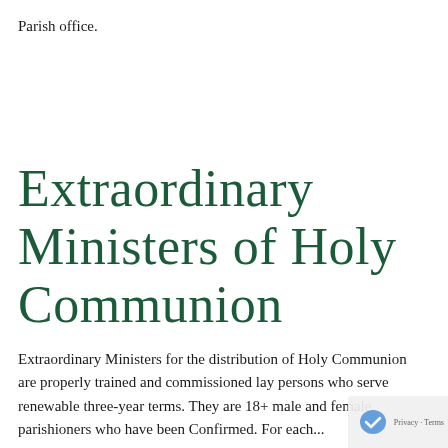Parish office.
Extraordinary Ministers of Holy Communion
Extraordinary Ministers for the distribution of Holy Communion are properly trained and commissioned lay persons who serve renewable three-year terms. They are 18+ male and female parishioners who have been Confirmed. For each...